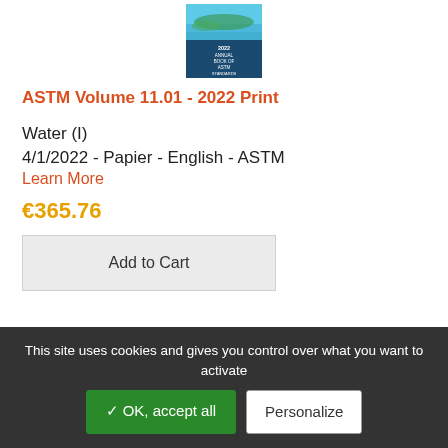[Figure (photo): ASTM 2022 Annual Book of Standards book cover - aerial view with water and greenery]
ASTM Volume 11.01 - 2022 Print
Water (I)
4/1/2022 - Papier - English - ASTM
Learn More
€365.76
Add to Cart
[Figure (photo): Second ASTM book cover - city skyline with blue background]
This site uses cookies and gives you control over what you want to activate